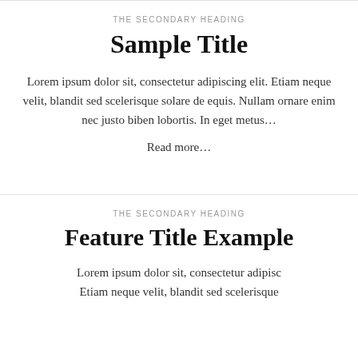THE SECONDARY HEADING
Sample Title
Lorem ipsum dolor sit, consectetur adipiscing elit. Etiam neque velit, blandit sed scelerisque solare de equis. Nullam ornare enim nec justo biben lobortis. In eget metus…
Read more…
THE SECONDARY HEADING
Feature Title Example
Lorem ipsum dolor sit, consectetur adipisc… Etiam neque velit, blandit sed scelerisque…